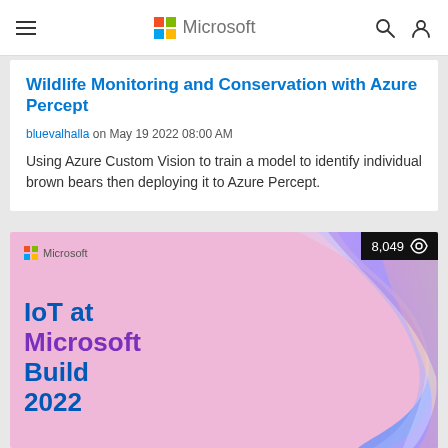Microsoft
Wildlife Monitoring and Conservation with Azure Percept
bluevalhalla on May 19 2022 08:00 AM
Using Azure Custom Vision to train a model to identify individual brown bears then deploying it to Azure Percept.
[Figure (illustration): IoT at Microsoft Build 2022 promotional banner with pink background, colorful swirl design, Microsoft logo, and view count of 8,049]